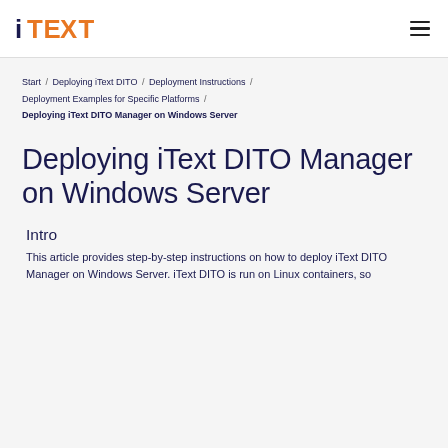iText [logo]
Start / Deploying iText DITO / Deployment Instructions / Deployment Examples for Specific Platforms / Deploying iText DITO Manager on Windows Server
Deploying iText DITO Manager on Windows Server
Intro
This article provides step-by-step instructions on how to deploy iText DITO Manager on Windows Server. iText DITO is run on Linux containers, so